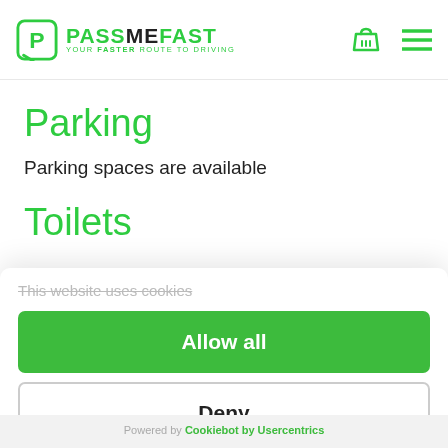[Figure (logo): PassMeFast logo with green P icon and tagline YOUR FASTER ROUTE TO DRIVING]
Parking
Parking spaces are available
Toilets
This website uses cookies
Allow all
Deny
Powered by Cookiebot by Usercentrics